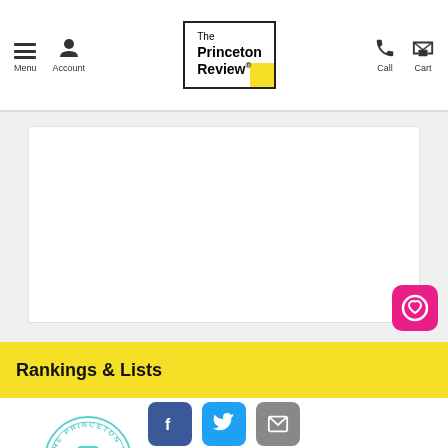The Princeton Review - Menu, Account, Call, Cart navigation
[Figure (logo): The Princeton Review logo with yellow corner accent in bordered box]
[Figure (illustration): Pink rounded square button with white heart icon]
Rankings & Lists
[Figure (logo): The Princeton Review 2022 Best Business Schools circular badge seal in teal/cyan color]
[Figure (infographic): Social media share buttons: Facebook (blue), Twitter (cyan), Email (gray)]